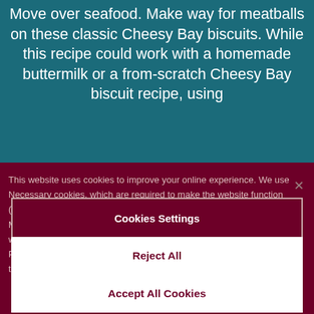Move over seafood. Make way for meatballs on these classic Cheesy Bay biscuits. While this recipe could work with a homemade buttermilk or a from-scratch Cheesy Bay biscuit recipe, using
This website uses cookies to improve your online experience. We use Necessary cookies, which are required to make the website function (e.g., site navigation and security). Third party Advertising and Marketing cookies can also track user interactions and activity on the website. For more information about these cookies, please visit: Privacy Policy. By selecting any of the following options, you consent to the cookie selected.
Cookies Settings
Reject All
Accept All Cookies